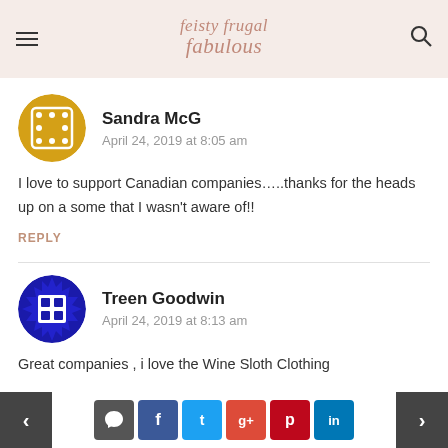feisty frugal fabulous
Sandra McG
April 24, 2019 at 8:05 am
I love to support Canadian companies…..thanks for the heads up on a some that I wasn't aware of!!
REPLY
Treen Goodwin
April 24, 2019 at 8:13 am
Great companies , i love the Wine Sloth Clothing
< comment f t g+ p in >